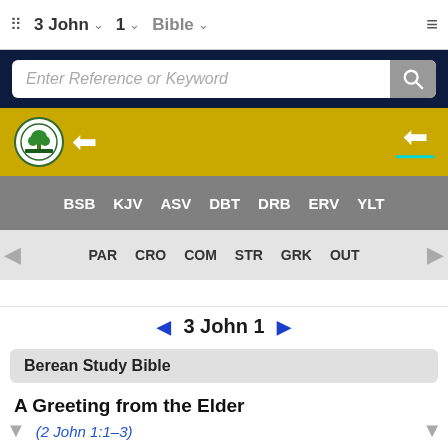3 John  1  Bible
Enter Reference or Keyword
[Figure (screenshot): Gold bar with Bible logo (tree in circle) and back arrow icons]
BSB  KJV  ASV  DBT  DRB  ERV  YLT
PAR  CRO  COM  STR  GRK  OUT
3 John 1
Berean Study Bible
A Greeting from the Elder
(2 John 1:1–3)